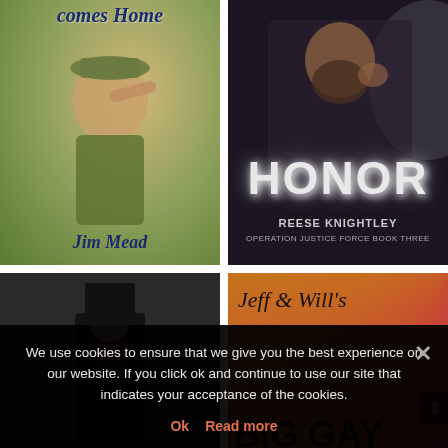[Figure (illustration): Book cover: 'Comes Home' by Jim Mead. Military-themed cover showing a soldier in camouflage with a hat, shading his eyes. Title in italic serif at top, author name at bottom.]
[Figure (illustration): Book cover: 'Honor' by Reese Knightley, Operation Justice Force Book Three. Dark cover with tattooed bearded man in leather jacket. Large white bold 'HONOR' text.]
[Figure (illustration): Book cover showing a person in Victorian dress with a tall black top hat against a dark background.]
[Figure (illustration): Book cover: 'Jeff & Will's Big Gay' with rainbow swirl background and bold black text.]
We use cookies to ensure that we give you the best experience on our website. If you click ok and continue to use our site that indicates your acceptance of the cookies.
Ok  Read more